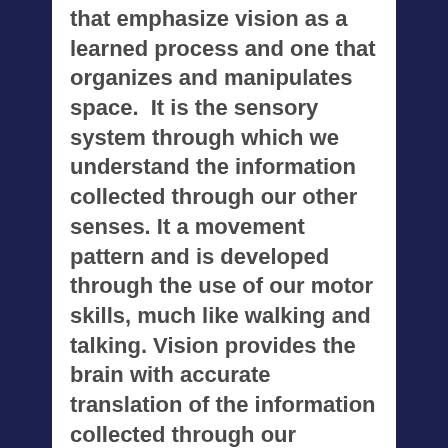that emphasize vision as a learned process and one that organizes and manipulates space.  It is the sensory system through which we understand the information collected through our other senses.  It a movement pattern and is developed through the use of our motor skills, much like walking and talking.  Vision provides the brain with accurate translation of the information collected through our eyesight.  (1, p. 6) Therefore, vision plays a key role in learning and can influence the quality of learning through visual efficiency and visual information processing.  Visual efficiency comprises the process of visual acuity and refractive error,